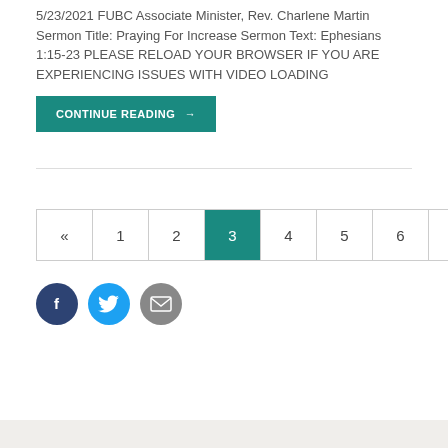5/23/2021 FUBC Associate Minister, Rev. Charlene Martin Sermon Title: Praying For Increase Sermon Text: Ephesians 1:15-23 PLEASE RELOAD YOUR BROWSER IF YOU ARE EXPERIENCING ISSUES WITH VIDEO LOADING
CONTINUE READING →
« 1 2 3 4 5 6 7 8 9 »